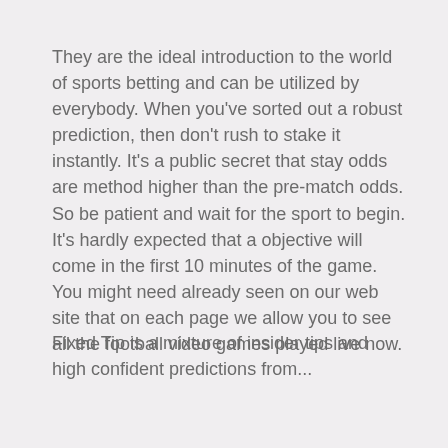They are the ideal introduction to the world of sports betting and can be utilized by everybody. When you've sorted out a robust prediction, then don't rush to stake it instantly. It's a public secret that stay odds are method higher than the pre-match odds. So be patient and wait for the sport to begin. It's hardly expected that a objective will come in the first 10 minutes of the game. You might need already seen on our web site that on each page we allow you to see all the football video games played live now.
Fixed Tip is a mixture of insider tips and high confident predictions from...